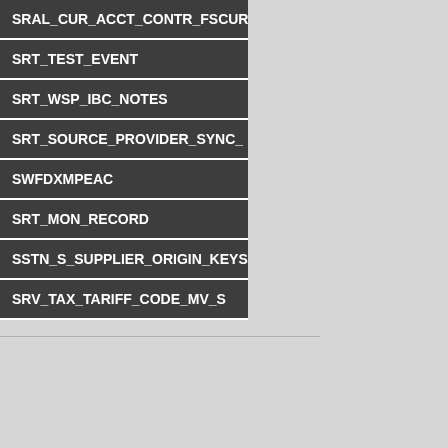SRAL_CUR_ACCT_CONTR_FSCUR
SRT_TEST_EVENT
SRT_WSP_IBC_NOTES
SRT_SOURCE_PROVIDER_SYNC_
SWFDXMPEAC
SRT_MON_RECORD
SSTN_S_SUPPLIER_ORIGIN_KEYS
SRV_TAX_TARIFF_CODE_MV_S